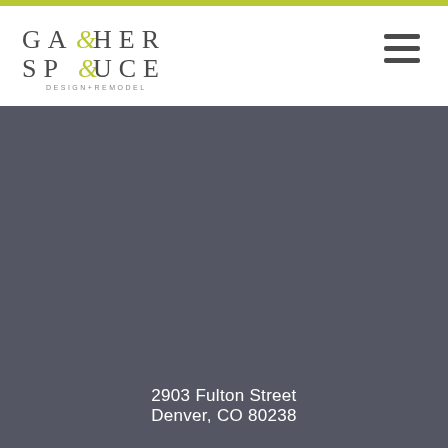[Figure (logo): Gather & Spruce Design + Remodel logo with stylized ampersand in olive/yellow-green color]
2903 Fulton Street
Denver, CO 80238